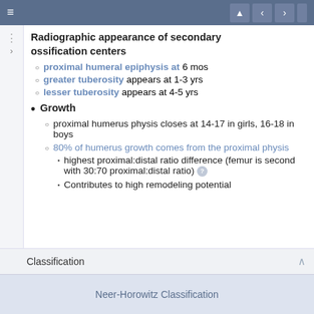≡  ▲  ‹  ›
Radiographic appearance of secondary ossification centers
proximal humeral epiphysis at 6 mos
greater tuberosity appears at 1-3 yrs
lesser tuberosity appears at 4-5 yrs
Growth
proximal humerus physis closes at 14-17 in girls, 16-18 in boys
80% of humerus growth comes from the proximal physis
highest proximal:distal ratio difference (femur is second with 30:70 proximal:distal ratio)
Contributes to high remodeling potential
Classification
Neer-Horowitz Classification